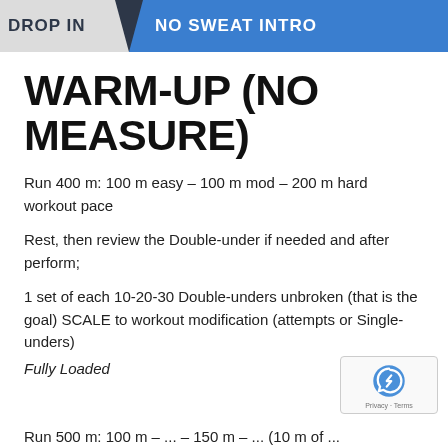DROP IN | NO SWEAT INTRO
WARM-UP (NO MEASURE)
Run 400 m: 100 m easy – 100 m mod – 200 m hard workout pace
Rest, then review the Double-under if needed and after perform;
1 set of each 10-20-30 Double-unders unbroken (that is the goal) SCALE to workout modification (attempts or Single-unders)
Fully Loaded
Run 500 m: 100 m ... 150 m ... (10 m of ...